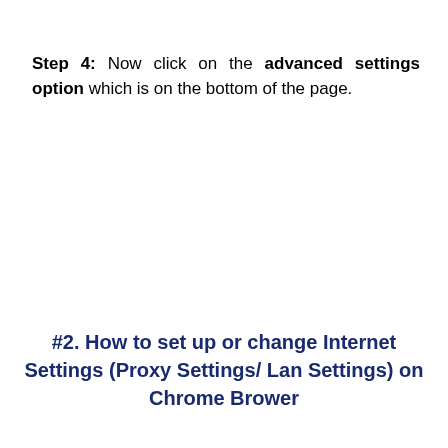Step 4: Now click on the advanced settings option which is on the bottom of the page.
#2. How to set up or change Internet Settings (Proxy Settings/ Lan Settings) on Chrome Brower